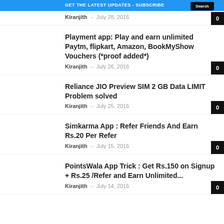GET THE LATEST UPDATES - SUBSCRIBE
Kiranjith – July 28, 2016
Playment app: Play and earn unlimited Paytm, flipkart, Amazon, BookMyShow Vouchers (*proof added*)
Kiranjith – July 26, 2016
Reliance JIO Preview SIM 2 GB Data LIMIT Problem solved
Kiranjith – July 25, 2016
Simkarma App : Refer Friends And Earn Rs.20 Per Refer
Kiranjith – July 15, 2016
PointsWala App Trick : Get Rs.150 on Signup + Rs.25 /Refer and Earn Unlimited...
Kiranjith – July 14, 2016